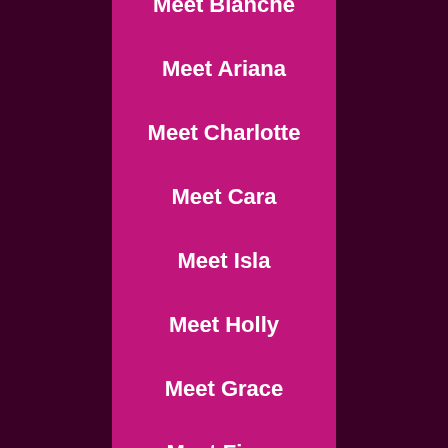Meet Blanche
Meet Ariana
Meet Charlotte
Meet Cara
Meet Isla
Meet Holly
Meet Grace
Meet Fiona
Meet Effie
Meet Daisy